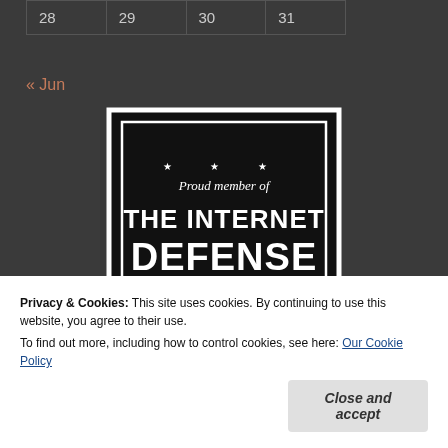| 28 | 29 | 30 | 31 |
« Jun
[Figure (logo): Black shield-shaped badge reading 'Proud member of THE INTERNET DEFENSE LEAGUE' with stars]
Privacy & Cookies: This site uses cookies. By continuing to use this website, you agree to their use.
To find out more, including how to control cookies, see here: Our Cookie Policy
Close and accept